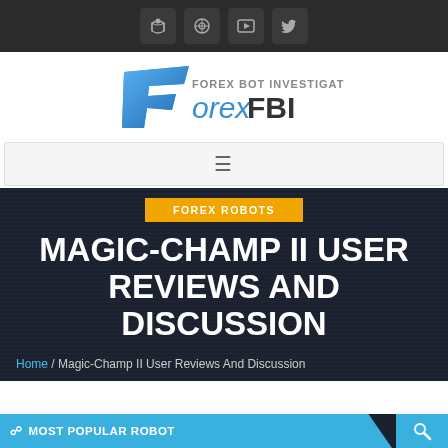[Figure (screenshot): Social media icon bar with RSS, Dribbble, Vimeo, and Twitter icons on dark background]
[Figure (logo): Forex FBI - Forex Bot Investigator logo with blue stylized F and bold FOREX FBI text]
[Figure (screenshot): Navigation hamburger menu bar]
FOREX ROBOTS
MAGIC-CHAMP II USER REVIEWS AND DISCUSSION
Home / Magic-Champ II User Reviews And Discussion
MOST POPULAR ROBOT